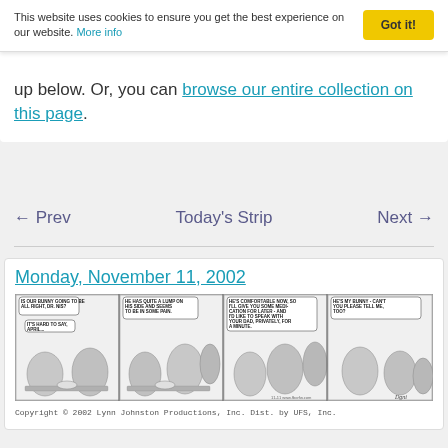This website uses cookies to ensure you get the best experience on our website. More info
up below. Or, you can browse our entire collection on this page.
← Prev   Today's Strip   Next →
Monday, November 11, 2002
[Figure (illustration): A four-panel comic strip. Panel 1: A child asks 'IS OUR BUNNY GOING TO BE ALL RIGHT, DR. NIS?' and a doctor replies 'IT'S HARD TO SAY, APRIL.' Panel 2: 'HE HAS QUITE A LUMP ON HIS SIDE AND SEEMS TO BE IN SOME PAIN.' Panel 3: 'HE'S COMFORTABLE NOW, SO I'LL GIVE YOU SOME MEDICATION FOR LATER - AND I'D LIKE TO SPEAK WITH YOUR DAD, PRIVATELY, FOR A MINUTE.' Panel 4: 'HE'S MY BUNNY - CAN'T YOU PLEASE TELL ME, TOO?']
Copyright © 2002 Lynn Johnston Productions, Inc. Dist. by UFS, Inc.